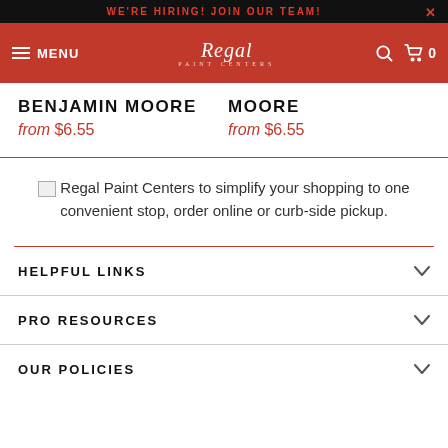WE'RE HIRING! JOIN OUR TEAM!
[Figure (logo): Regal Paint Centers logo in white on red navigation bar with hamburger menu, MENU text, search icon, and cart icon showing 0]
BENJAMIN MOORE from $6.55
MOORE from $6.55
[Figure (illustration): Regal Paint Centers image (broken/not loaded) with text: Regal Paint Centers to simplify your shopping to one convenient stop, order online or curb-side pickup.]
HELPFUL LINKS
PRO RESOURCES
OUR POLICIES